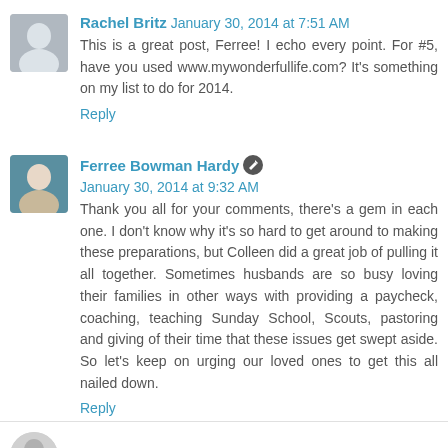Rachel Britz  January 30, 2014 at 7:51 AM
This is a great post, Ferree! I echo every point. For #5, have you used www.mywonderfullife.com? It's something on my list to do for 2014.
Reply
Ferree Bowman Hardy  January 30, 2014 at 9:32 AM
Thank you all for your comments, there's a gem in each one. I don't know why it's so hard to get around to making these preparations, but Colleen did a great job of pulling it all together. Sometimes husbands are so busy loving their families in other ways with providing a paycheck, coaching, teaching Sunday School, Scouts, pastoring and giving of their time that these issues get swept aside. So let's keep on urging our loved ones to get this all nailed down.
Reply
Enter Comment